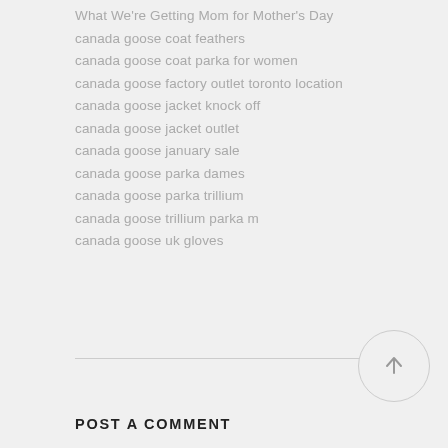What We're Getting Mom for Mother's Day
canada goose coat feathers
canada goose coat parka for women
canada goose factory outlet toronto location
canada goose jacket knock off
canada goose jacket outlet
canada goose january sale
canada goose parka dames
canada goose parka trillium
canada goose trillium parka m
canada goose uk gloves
[Figure (other): Circular scroll-to-top button with upward arrow icon]
POST A COMMENT